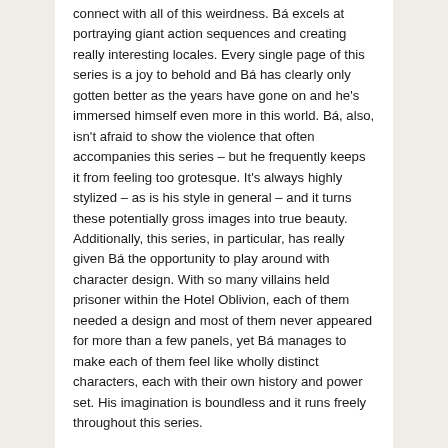connect with all of this weirdness. Bá excels at portraying giant action sequences and creating really interesting locales. Every single page of this series is a joy to behold and Bá has clearly only gotten better as the years have gone on and he's immersed himself even more in this world. Bá, also, isn't afraid to show the violence that often accompanies this series – but he frequently keeps it from feeling too grotesque. It's always highly stylized – as is his style in general – and it turns these potentially gross images into true beauty. Additionally, this series, in particular, has really given Bá the opportunity to play around with character design. With so many villains held prisoner within the Hotel Oblivion, each of them needed a design and most of them never appeared for more than a few panels, yet Bá manages to make each of them feel like wholly distinct characters, each with their own history and power set. His imagination is boundless and it runs freely throughout this series.
All in all, The Umbrella Academy: Hotel Oblivion is a welcome return to this deeply creative and interesting world from Gerard Way and Gabriel Bá. While it still